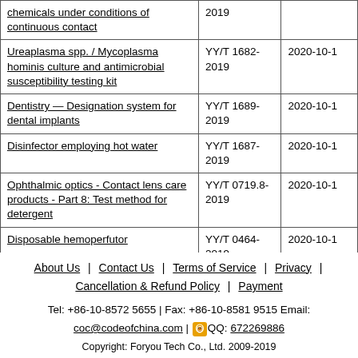| Product Name | Standard No. | Implementation Date |
| --- | --- | --- |
| chemicals under conditions of continuous contact | 2019 |  |
| Ureaplasma spp. / Mycoplasma hominis culture and antimicrobial susceptibility testing kit | YY/T 1682-2019 | 2020-10-1 |
| Dentistry — Designation system for dental implants | YY/T 1689-2019 | 2020-10-1 |
| Disinfector employing hot water | YY/T 1687-2019 | 2020-10-1 |
| Ophthalmic optics - Contact lens care products - Part 8: Test method for detergent | YY/T 0719.8-2019 | 2020-10-1 |
| Disposable hemoperfutor | YY/T 0464-2019 | 2020-10-1 |
| Surgical drapes,gowns and clean air suits for patients, clinical staff and equipment—Part 8:Special requirements for products | YY/T 0506.8-2019 | 2020-8-1 |
About Us | Contact Us | Terms of Service | Privacy | Cancellation & Refund Policy | Payment
Tel: +86-10-8572 5655 | Fax: +86-10-8581 9515 Email:
coc@codeofchina.com | QQ: 672269886
Copyright: Foryou Tech Co., Ltd. 2009-2019